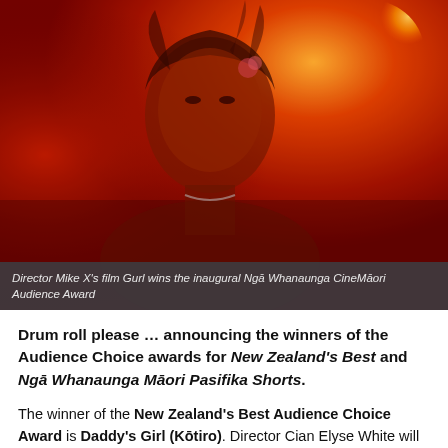[Figure (photo): A person with dramatic red and orange lighting, wearing a floral garment and necklace, looking directly at camera. Background has warm red and amber tones.]
Director Mike X's film Gurl wins the inaugural Ngā Whanaunga CineMāori Audience Award
Drum roll please … announcing the winners of the Audience Choice awards for New Zealand's Best and Ngā Whanaunga Māori Pasifika Shorts.
The winner of the New Zealand's Best Audience Choice Award is Daddy's Girl (Kōtiro). Director Cian Elyse White will receive 25 per cent of the box office from the online screenings.
The winner of the Ngā Whanaunga CineMāori Audience